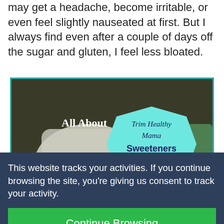may get a headache, become irritable, or even feel slightly nauseated at first. But I always find even after a couple of days off the sugar and gluten, I feel less bloated.
[Figure (photo): Photo showing bags of sweeteners (xylitol visible) on a counter with an overlay hexagon graphic reading 'All About Trim Healthy Mama Sweeteners']
This website tracks your activities. If you continue browsing the site, you're giving us consent to track your activity.
Continue Browsing